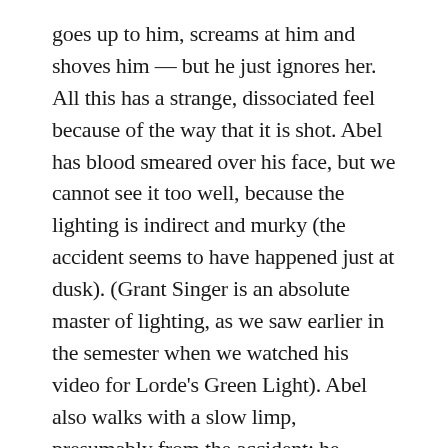goes up to him, screams at him and shoves him — but he just ignores her. All this has a strange, dissociated feel because of the way that it is shot. Abel has blood smeared over his face, but we cannot see it too well, because the lighting is indirect and murky (the accident seems to have happened just at dusk). (Grant Singer is an absolute master of lighting, as we saw earlier in the semester when we watched his video for Lorde's Green Light). Abel also walks with a slow limp, presumably from the accident; he lipsyncs the lines of the song intehimthe Weeknd, while the women and the car seen behind him are blurry, out of focus. (I also wonder about how the women seem to be moving back and forth slowly – is the video